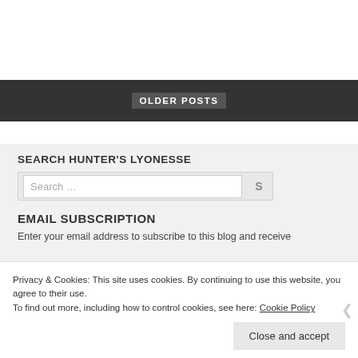[Figure (screenshot): Top white area, partial webpage content above navigation]
OLDER POSTS
SEARCH HUNTER'S LYONESSE
Search …
EMAIL SUBSCRIPTION
Enter your email address to subscribe to this blog and receive
Privacy & Cookies: This site uses cookies. By continuing to use this website, you agree to their use.
To find out more, including how to control cookies, see here: Cookie Policy
Close and accept